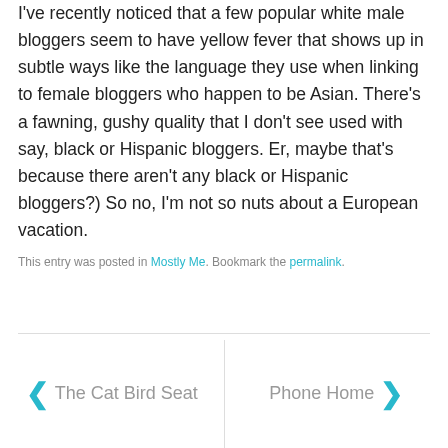I've recently noticed that a few popular white male bloggers seem to have yellow fever that shows up in subtle ways like the language they use when linking to female bloggers who happen to be Asian. There's a fawning, gushy quality that I don't see used with say, black or Hispanic bloggers. Er, maybe that's because there aren't any black or Hispanic bloggers?) So no, I'm not so nuts about a European vacation.
This entry was posted in Mostly Me. Bookmark the permalink.
← The Cat Bird Seat
Phone Home →